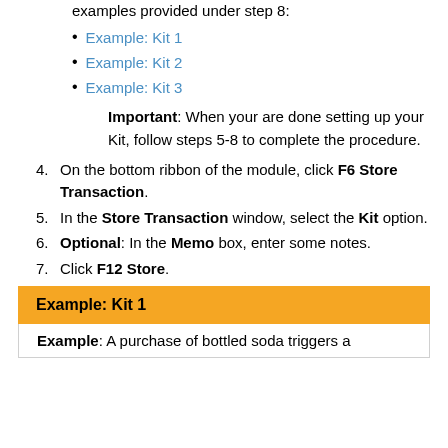examples provided under step 8:
Example:  Kit 1
Example:  Kit 2
Example:  Kit 3
Important: When your are done setting up your Kit, follow steps 5-8 to complete the procedure.
4. On the bottom ribbon of the module, click F6 Store Transaction.
5. In the Store Transaction window, select the Kit option.
6. Optional: In the Memo box, enter some notes.
7. Click F12 Store.
Example:  Kit 1
Example: A purchase of bottled soda triggers a